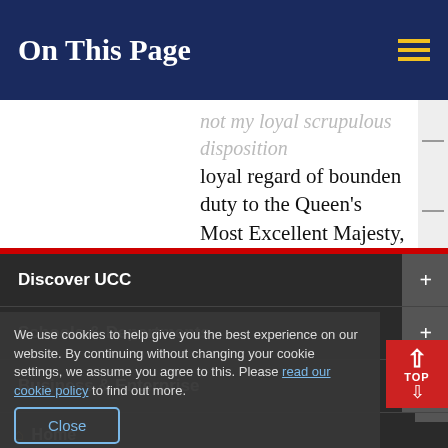On This Page
loyal regard of bounden duty to the Queen's Most Excellent Majesty, or yet so much as any provident consideration of the shameful and headlong race you have run, to your own utter destruction, and
Discover UCC
Schools & Departments
Business & Enterprise
Alumni & Development
We use cookies to help give you the best experience on our website. By continuing without changing your cookie settings, we assume you agree to this. Please read our cookie policy to find out more.
Close
Home